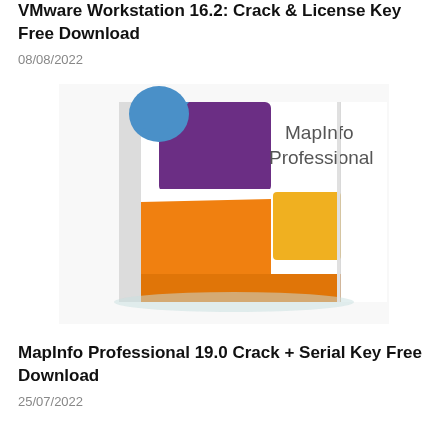VMware Workstation 16.2: Crack & License Key Free Download
08/08/2022
[Figure (photo): MapInfo Professional software box showing orange, purple, blue, and yellow colored panels with the text 'MapInfo Professional' on the right side]
MapInfo Professional 19.0 Crack + Serial Key Free Download
25/07/2022